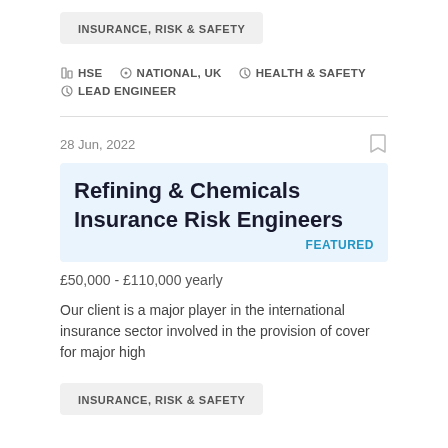INSURANCE, RISK & SAFETY
HSE  NATIONAL, UK  HEALTH & SAFETY  LEAD ENGINEER
28 Jun, 2022
Refining & Chemicals Insurance Risk Engineers
FEATURED
£50,000 - £110,000 yearly
Our client is a major player in the international insurance sector involved in the provision of cover for major high
INSURANCE, RISK & SAFETY